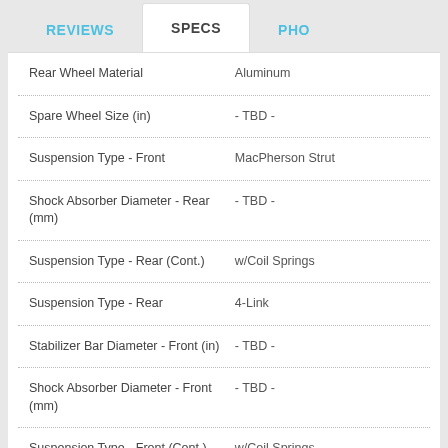REVIEWS | SPECS | PHO
| Specification | Value |
| --- | --- |
| Rear Wheel Material | Aluminum |
| Spare Wheel Size (in) | - TBD - |
| Suspension Type - Front | MacPherson Strut |
| Shock Absorber Diameter - Rear (mm) | - TBD - |
| Suspension Type - Rear (Cont.) | w/Coil Springs |
| Suspension Type - Rear | 4-Link |
| Stabilizer Bar Diameter - Front (in) | - TBD - |
| Shock Absorber Diameter - Front (mm) | - TBD - |
| Suspension Type - Front (Cont.) | w/Coil Springs |
| Stabilizer Bar Diameter - Rear (in) | - TBD - |